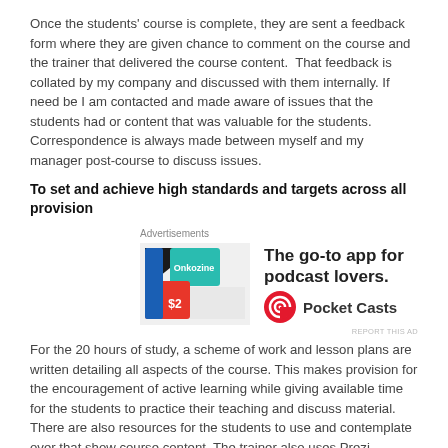Once the students' course is complete, they are sent a feedback form where they are given chance to comment on the course and the trainer that delivered the course content.  That feedback is collated by my company and discussed with them internally. If need be I am contacted and made aware of issues that the students had or content that was valuable for the students. Correspondence is always made between myself and my manager post-course to discuss issues.
To set and achieve high standards and targets across all provision
[Figure (screenshot): Advertisement banner for Pocket Casts app showing a colorful geometric logo, the tagline 'The go-to app for podcast lovers.', the Pocket Casts circular logo, and the brand name 'Pocket Casts'.]
For the 20 hours of study, a scheme of work and lesson plans are written detailing all aspects of the course. This makes provision for the encouragement of active learning while giving available time for the students to practice their teaching and discuss material. There are also resources for the students to use and contemplate over that show course content. The trainer also uses Prezi presentation facility to help students understand the content clearly.